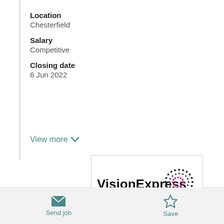Location
Chesterfield
Salary
Competitive
Closing date
6 Jun 2022
View more
[Figure (logo): VisionExpress logo with dotted oval graphic in pink and black]
Send job
Save